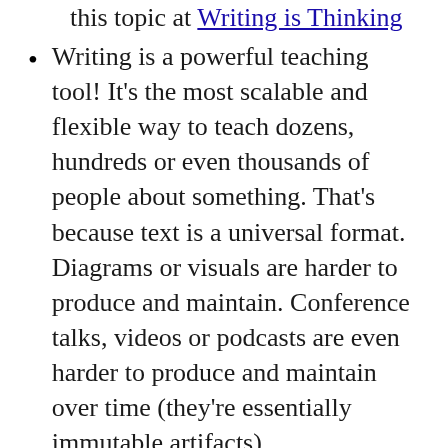this topic at Writing is Thinking
Writing is a powerful teaching tool! It's the most scalable and flexible way to teach dozens, hundreds or even thousands of people about something. That's because text is a universal format. Diagrams or visuals are harder to produce and maintain. Conference talks, videos or podcasts are even harder to produce and maintain over time (they're essentially immutable artifacts)
Text is easy to edit and collaborate on. It's much harder to do this with other medium.